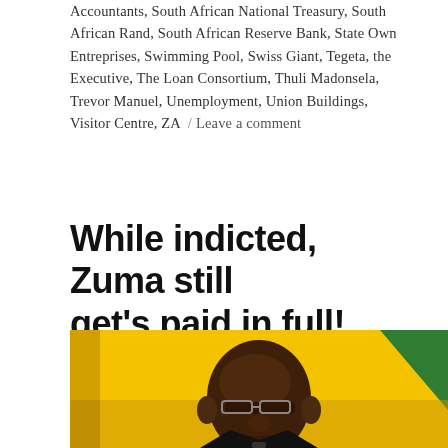Accountants, South African National Treasury, South African Rand, South African Reserve Bank, State Own Entreprises, Swimming Pool, Swiss Giant, Tegeta, the Executive, The Loan Consortium, Thuli Madonsela, Trevor Manuel, Unemployment, Union Buildings, Visitor Centre, ZA / Leave a comment
While indicted, Zuma still get's paid in full!
[Figure (photo): Close-up photo of Jacob Zuma speaking, with a blurred South African flag (yellow and green) in the background]